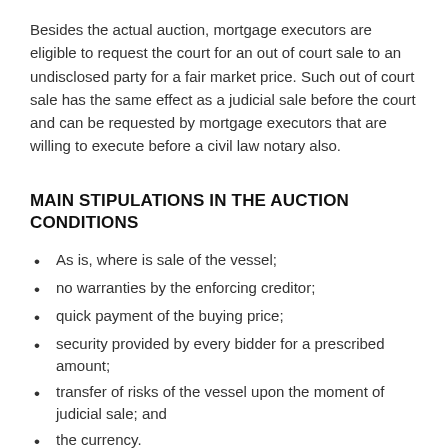Besides the actual auction, mortgage executors are eligible to request the court for an out of court sale to an undisclosed party for a fair market price. Such out of court sale has the same effect as a judicial sale before the court and can be requested by mortgage executors that are willing to execute before a civil law notary also.
MAIN STIPULATIONS IN THE AUCTION CONDITIONS
As is, where is sale of the vessel;
no warranties by the enforcing creditor;
quick payment of the buying price;
security provided by every bidder for a prescribed amount;
transfer of risks of the vessel upon the moment of judicial sale; and
the currency.